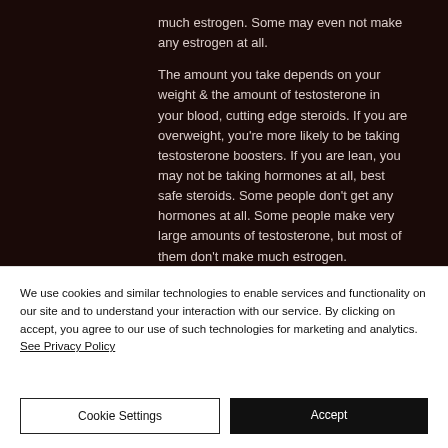much estrogen. Some may even not make any estrogen at all.

The amount you take depends on your weight & the amount of testosterone in your blood, cutting edge steroids. If you are overweight, you're more likely to be taking testosterone boosters. If you are lean, you may not be taking hormones at all, best safe steroids. Some people don't get any hormones at all. Some people make very large amounts of testosterone, but most of them don't make much estrogen.
We use cookies and similar technologies to enable services and functionality on our site and to understand your interaction with our service. By clicking on accept, you agree to our use of such technologies for marketing and analytics. See Privacy Policy